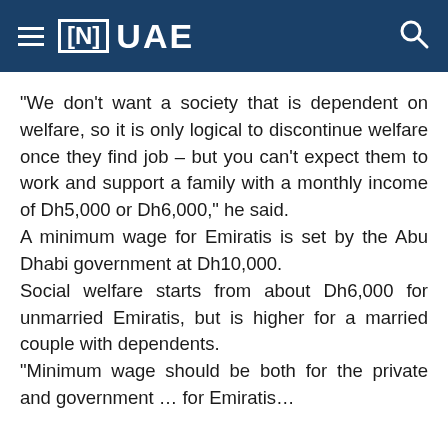[N] UAE
“We don’t want a society that is dependent on welfare, so it is only logical to discontinue welfare once they find job – but you can’t expect them to work and support a family with a monthly income of Dh5,000 or Dh6,000," he said.
A minimum wage for Emiratis is set by the Abu Dhabi government at Dh10,000.
Social welfare starts from about Dh6,000 for unmarried Emiratis, but is higher for a married couple with dependents.
“Minimum wage should be both for the private and government … for Emiratis…